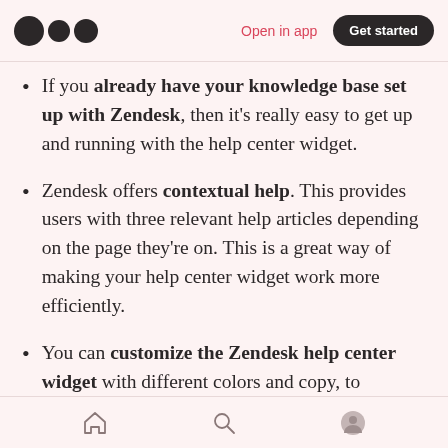Medium logo | Open in app | Get started
If you already have your knowledge base set up with Zendesk, then it's really easy to get up and running with the help center widget.
Zendesk offers contextual help. This provides users with three relevant help articles depending on the page they're on. This is a great way of making your help center widget work more efficiently.
You can customize the Zendesk help center widget with different colors and copy, to
Home | Search | Profile